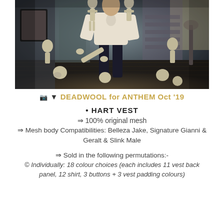[Figure (photo): Dark atmospheric photo of a man in a white shirt and black jeans standing among multiple skeletons in a Victorian-style room with wooden floors, a staircase, and moody lighting.]
📷 ▼ DEADWOOL for ANTHEM Oct '19
• HART VEST
⇒ 100% original mesh
⇒ Mesh body Compatibilities: Belleza Jake, Signature Gianni & Geralt & Slink Male
⇒ Sold in the following permutations:-
© Individually: 18 colour choices (each includes 11 vest back panel, 12 shirt, 3 buttons + 3 vest padding colours)